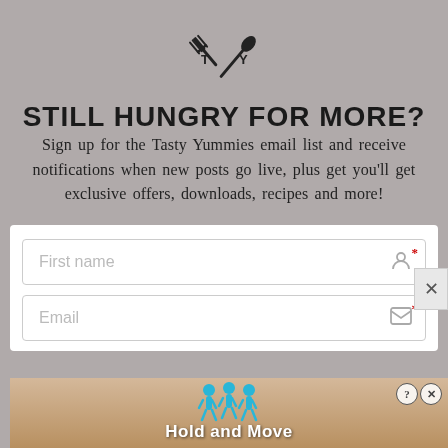[Figure (logo): Tasty Yummies logo: crossed fork and spoon with letters T and Y]
STILL HUNGRY FOR MORE?
Sign up for the Tasty Yummies email list and receive notifications when new posts go live, plus get you'll get exclusive offers, downloads, recipes and more!
[Figure (screenshot): Email signup form with First name and Email input fields, each with a required asterisk and icon]
[Figure (screenshot): Advertisement banner showing Hold and Move game with figures and control buttons]